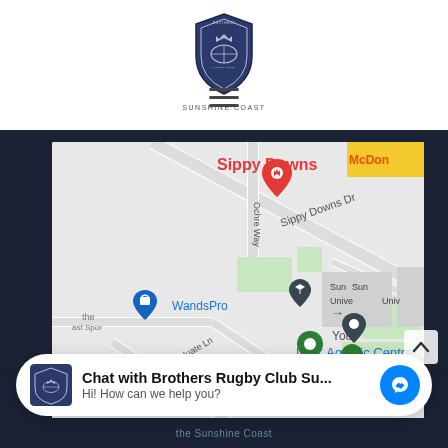[Figure (logo): Brothers Rugby Club Sunshine Coast shield/crest logo in dark blue with text 'SUNSHINE COAST' below]
[Figure (screenshot): Google Maps screenshot showing Sippy Downs area near USC (University of the Sunshine Coast) with markers for WandsPro, Youi, USC Aquatic Centre, and a red pin. Roads shown: Sippy Downs Dr, Ochre Way, Graduate Ln. McDonald's visible at top right.]
Chat with Brothers Rugby Club Su...
Hi! How can we help you?